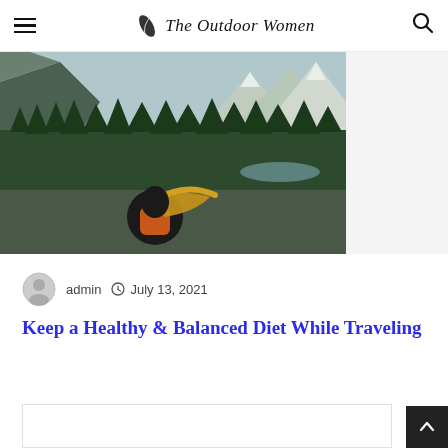The Outdoor Women
[Figure (photo): Woman with orange backpack and long blonde hair blowing in the wind, viewed from behind, looking at a mountain landscape with dense pine forest and snow-capped peaks.]
admin   July 13, 2021
Keep a Healthy & Balanced Diet While Traveling